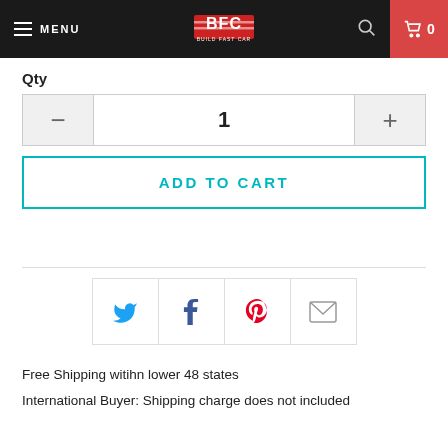MENU | BFC BUILD FAST CAR | 🔍 | 🛒 0
Qty
1
ADD TO CART
[Figure (infographic): Social sharing icons: Twitter, Facebook, Pinterest, Email]
Free Shipping witihn lower 48 states
International Buyer: Shipping charge does not included